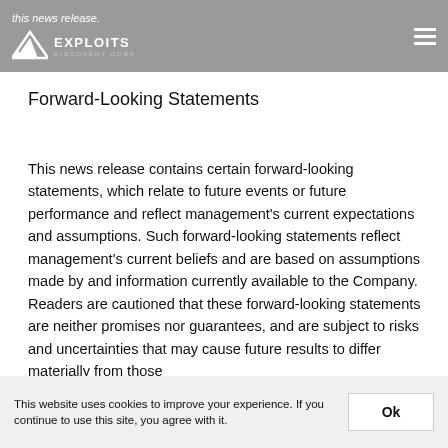this news release. | EXPLOITS DISCOVERY CORP
Forward-Looking Statements
This news release contains certain forward-looking statements, which relate to future events or future performance and reflect management's current expectations and assumptions. Such forward-looking statements reflect management's current beliefs and are based on assumptions made by and information currently available to the Company. Readers are cautioned that these forward-looking statements are neither promises nor guarantees, and are subject to risks and uncertainties that may cause future results to differ materially from those
This website uses cookies to improve your experience. If you continue to use this site, you agree with it.